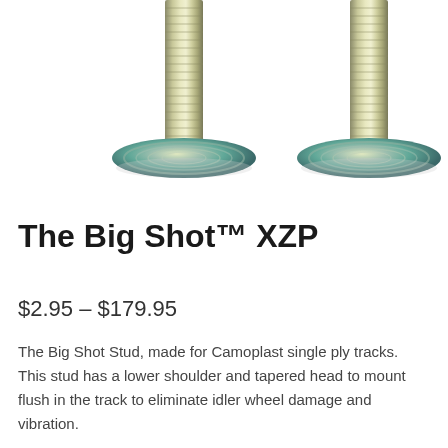[Figure (photo): Two metal threaded studs (Big Shot XZP) photographed from above, each with a circular flanged base/washer, showing metallic zinc plating with concentric ring patterns. Set against a white background.]
The Big Shot™ XZP
$2.95 – $179.95
The Big Shot Stud, made for Camoplast single ply tracks. This stud has a lower shoulder and tapered head to mount flush in the track to eliminate idler wheel damage and vibration.